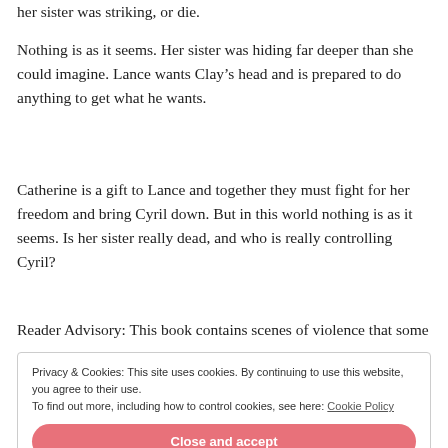her sister was striking, or die.
Nothing is as it seems. Her sister was hiding far deeper than she could imagine. Lance wants Clay’s head and is prepared to do anything to get what he wants.
Catherine is a gift to Lance and together they must fight for her freedom and bring Cyril down. But in this world nothing is as it seems. Is her sister really dead, and who is really controlling Cyril?
Reader Advisory: This book contains scenes of violence that some
Privacy & Cookies: This site uses cookies. By continuing to use this website, you agree to their use.
To find out more, including how to control cookies, see here: Cookie Policy
Close and accept